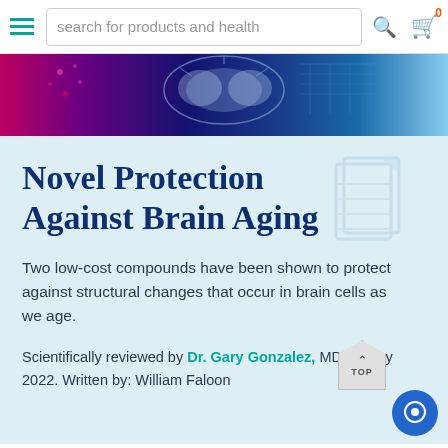search for products and health
[Figure (photo): Brain imaging banner with colorful digital brain illustration on dark background with red, purple, blue gradient]
Novel Protection Against Brain Aging
Two low-cost compounds have been shown to protect against structural changes that occur in brain cells as we age.
Scientifically reviewed by Dr. Gary Gonzalez, MD, in May 2022. Written by: William Faloon